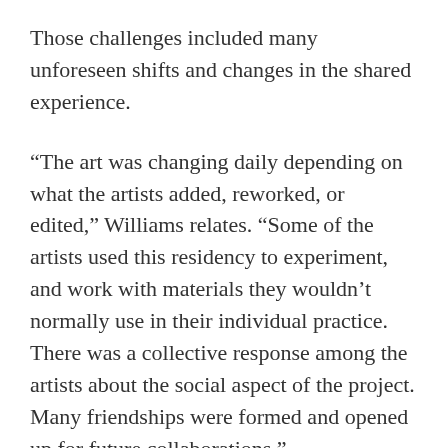Those challenges included many unforeseen shifts and changes in the shared experience.
“The art was changing daily depending on what the artists added, reworked, or edited,” Williams relates. “Some of the artists used this residency to experiment, and work with materials they wouldn’t normally use in their individual practice. There was a collective response among the artists about the social aspect of the project. Many friendships were formed and opened up for future collaborations.”
In all 25 artists contributed to the project...